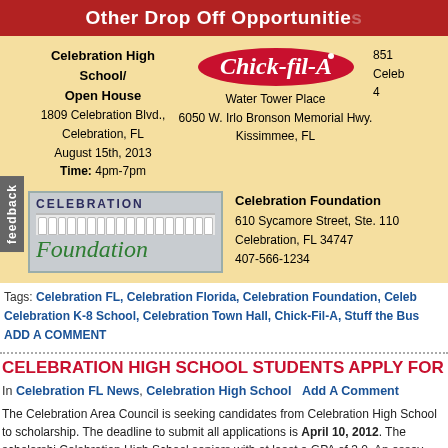Other Drop Off Opportunities
Celebration High School/ Open House
1809 Celebration Blvd.,
Celebration, FL
August 15th, 2013
Time: 4pm-7pm
[Figure (logo): Chick-fil-A logo with Water Tower Place location: 6050 W. Irlo Bronson Memorial Hwy., Kissimmee, FL]
851
Celeb
[Figure (logo): Celebration Foundation logo with fence graphic]
Celebration Foundation
610 Sycamore Street, Ste. 110
Celebration, FL 34747
407-566-1234
Tags: Celebration FL, Celebration Florida, Celebration Foundation, Celeb... Celebration K-8 School, Celebration Town Hall, Chick-Fil-A, Stuff the Bus
ADD A COMMENT
CELEBRATION HIGH SCHOOL STUDENTS APPLY FOR SCH...
In Celebration FL News, Celebration High School  Add A Comment
The Celebration Area Council is seeking candidates from Celebration High School to scholarship. The deadline to submit all applications is April 10, 2012. The scholarshi Celebration High School seniors with at least a GPA of 3.0. An essay must also be su application. The Celebration Area Council has been granting scholarships to at least graduate for the past decade.